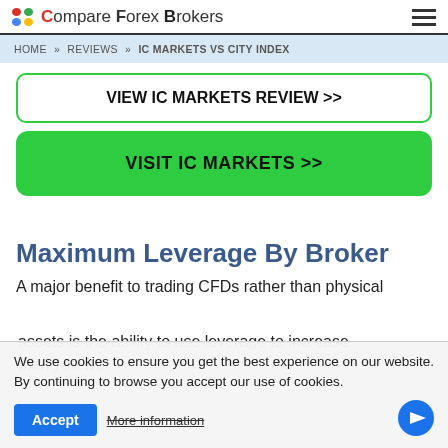Compare Forex Brokers
HOME » REVIEWS » IC MARKETS VS CITY INDEX
VIEW IC MARKETS REVIEW >>
VISIT IC MARKETS >>
Maximum Leverage By Broker
A major benefit to trading CFDs rather than physical
We use cookies to ensure you get the best experience on our website. By continuing to browse you accept our use of cookies.
Accept
More information